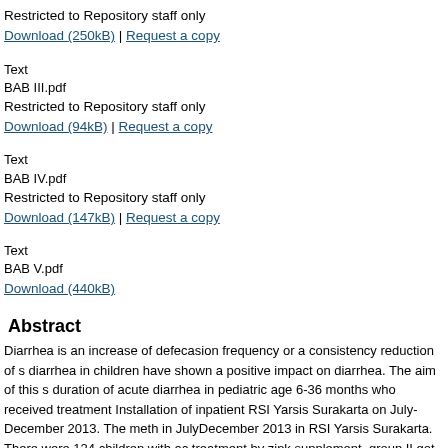Restricted to Repository staff only
Download (250kB) | Request a copy
Text
BAB III.pdf
Restricted to Repository staff only
Download (94kB) | Request a copy
Text
BAB IV.pdf
Restricted to Repository staff only
Download (147kB) | Request a copy
Text
BAB V.pdf
Download (440kB)
Abstract
Diarrhea is an increase of defecasion frequency or a consistency reduction of s diarrhea in children have shown a positive impact on diarrhea. The aim of this s duration of acute diarrhea in pediatric age 6-36 months who received treatment Installation of inpatient RSI Yarsis Surakarta on July-December 2013. The meth in JulyDecember 2013 in RSI Yarsis Surakarta. There were 124 children with ac treatment by zink supplement, group II got zink and probiotic supplements, and 124 children, 63 boys (50,80%) and 61 girls (49,20), divided into groups accord months, 16,13% age 25-36 months. Diarrhea of duration between 1-2 days in th